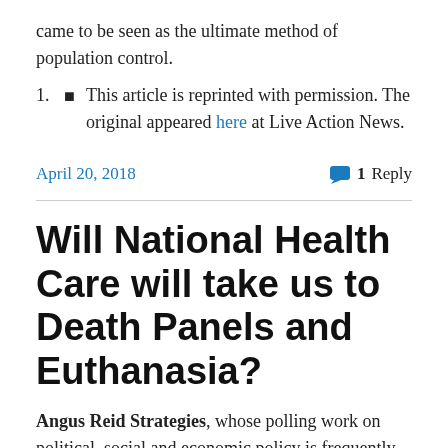came to be seen as the ultimate method of population control.
This article is reprinted with permission. The original appeared here at Live Action News.
April 20, 2018    💬 1 Reply
Will National Health Care will take us to Death Panels and Euthanasia?
Angus Reid Strategies, whose polling work on political, social and economic policy is frequently quoted in the